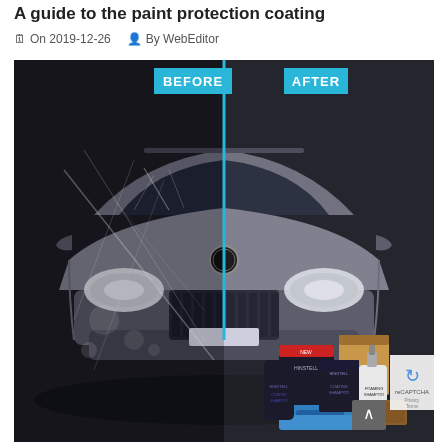A guide to the paint protection coating
On 2019-12-26   By WebEditor
[Figure (photo): Before and after comparison photo of a BMW SUV with paint protection coating. Left half labeled 'BEFORE' shows the car with scratched, damaged paint. Right half labeled 'AFTER' shows clean, polished paint. A blue vertical divider line separates the two halves. In the lower portion, car care product boxes and accessories (foam shampoo bottles, blue microfiber cloths) are visible in the foreground.]